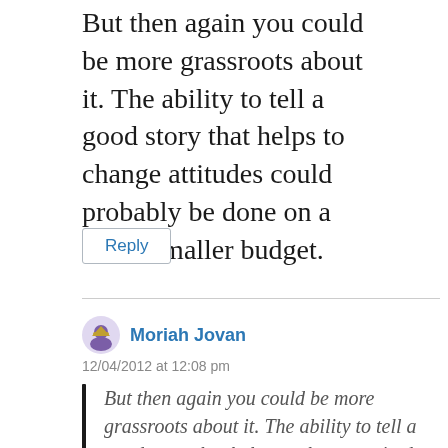But then again you could be more grassroots about it. The ability to tell a good story that helps to change attitudes could probably be done on a much smaller budget.
Reply
Moriah Jovan
12/04/2012 at 12:08 pm
But then again you could be more grassroots about it. The ability to tell a good story that helps to change attitudes could probably be done on a much smaller budget.